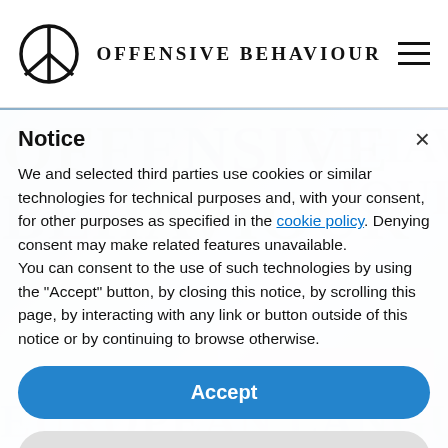OFFENSIVE BEHAVIOUR
[Figure (screenshot): Website screenshot showing Offensive Behaviour brand page with a cookie consent notice dialog overlay. The header contains a peace symbol logo, stylized 'OFFENSIVE BEHAVIOUR' text, and hamburger menu. Behind the dialog is a gradient blue hero banner with large watermark text. The cookie notice has Accept and Learn more and customize buttons.]
Notice
We and selected third parties use cookies or similar technologies for technical purposes and, with your consent, for other purposes as specified in the cookie policy. Denying consent may make related features unavailable.
You can consent to the use of such technologies by using the "Accept" button, by closing this notice, by scrolling this page, by interacting with any link or button outside of this notice or by continuing to browse otherwise.
Accept
Learn more and customize